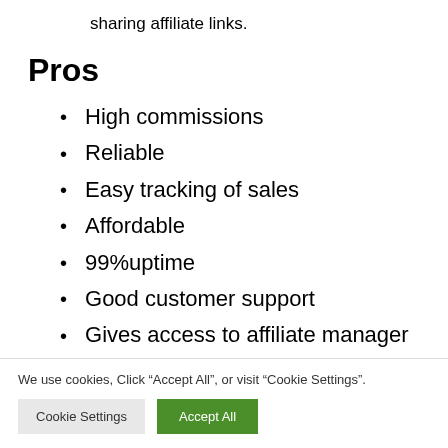sharing affiliate links.
Pros
High commissions
Reliable
Easy tracking of sales
Affordable
99%uptime
Good customer support
Gives access to affiliate manager
We use cookies, Click “Accept All”, or visit “Cookie Settings”.
Cookie Settings | Accept All